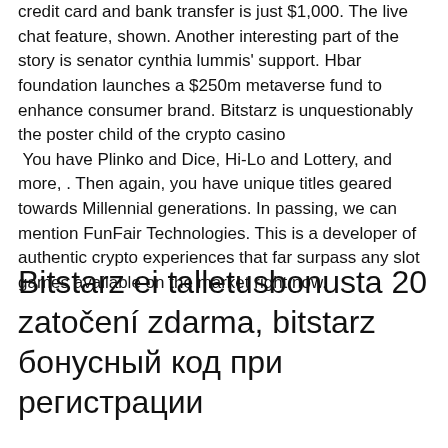credit card and bank transfer is just $1,000. The live chat feature, shown. Another interesting part of the story is senator cynthia lummis' support. Hbar foundation launches a $250m metaverse fund to enhance consumer brand. Bitstarz is unquestionably the poster child of the crypto casino
 You have Plinko and Dice, Hi-Lo and Lottery, and more, . Then again, you have unique titles geared towards Millennial generations. In passing, we can mention FunFair Technologies. This is a developer of authentic crypto experiences that far surpass any slot games available on the market right now.
Bitstarz ei talletusbonusta 20 zatočení zdarma, bitstarz бонусный код при регистрации